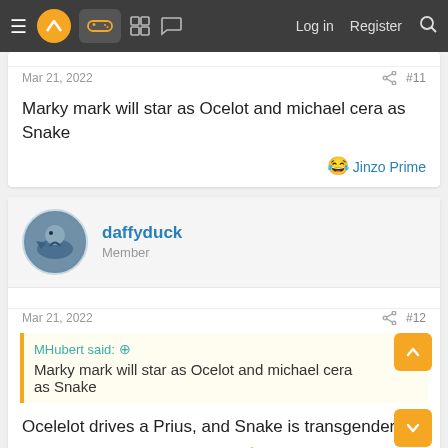Navigation bar with logo, icons, Log in, Register, Search
Mar 21, 2022  #11
Marky mark will star as Ocelot and michael cera as Snake
😂 Jinzo Prime
daffyduck  Member
Mar 21, 2022  #12
MHubert said: ↑  Marky mark will star as Ocelot and michael cera as Snake
Ocelelot drives a Prius, and Snake is transgender.